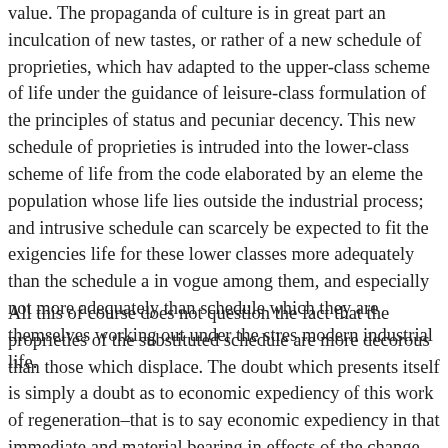value. The propaganda of culture is in great part an inculcation of new tastes, or rather of a new schedule of proprieties, which have adapted to the upper-class scheme of life under the guidance of leisure-class formulation of the principles of status and pecuniary decency. This new schedule of proprieties is intruded into the lower-class scheme of life from the code elaborated by an element of the population whose life lies outside the industrial process; and this intrusive schedule can scarcely be expected to fit the exigencies of life for these lower classes more adequately than the schedule already in vogue among them, and especially not more adequately than the schedule which they are themselves working out under the stress of modern industrial life.
All this of course does not question the fact that the proprieties of the substituted schedule are more decorous than those which they displace. The doubt which presents itself is simply a doubt as to the economic expediency of this work of regeneration–that is to say, economic expediency in that immediate and material bearing in which effects of the change can be ascertained with some degree of confidence.